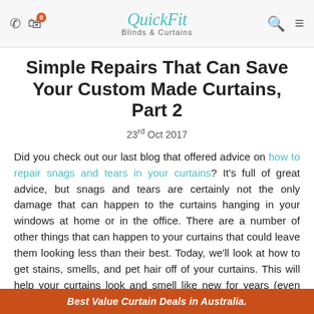QuickFit Blinds & Curtains
Simple Repairs That Can Save Your Custom Made Curtains, Part 2
23rd Oct 2017
Did you check out our last blog that offered advice on how to repair snags and tears in your curtains? It's full of great advice, but snags and tears are certainly not the only damage that can happen to the curtains hanging in your windows at home or in the office. There are a number of other things that can happen to your curtains that could leave them looking less than their best. Today, we'll look at how to get stains, smells, and pet hair off of your curtains. This will help your curtains look and smell like new for years (even decades!) to come so you can enjoy your investment for even longer.
Best Value Curtain Deals in Australia.